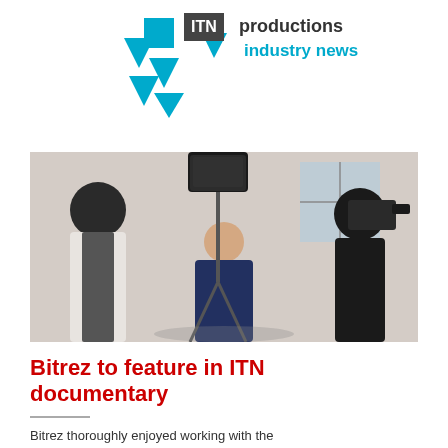[Figure (logo): ITN Productions Industry News logo with blue geometric arrow/chevron shapes on the left and bold text 'ITN productions industry news' on the right]
[Figure (photo): A video production shoot scene indoors showing a camera operator on the right filming a subject seated in the middle in a navy suit, with a lighting rig visible and another person standing on the left in a waistcoat]
Bitrez to feature in ITN documentary
Bitrez thoroughly enjoyed working with the